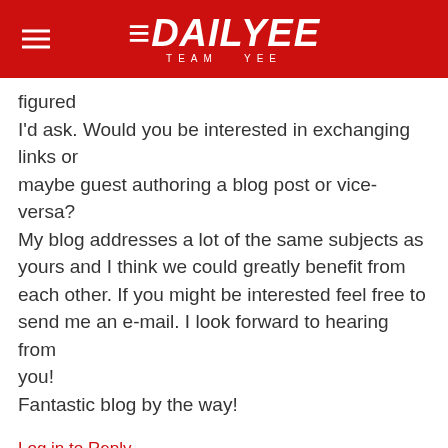DAILYEE — TEAM YEE
figured
I'd ask. Would you be interested in exchanging links or
maybe guest authoring a blog post or vice-versa? My blog addresses a lot of the same subjects as yours and I think we could greatly benefit from each other. If you might be interested feel free to send me an e-mail. I look forward to hearing from you!
Fantastic blog by the way!
Log in to Reply
car exhaust  5 years ago
Hello colleagues, its enormous post about teachingand entirely defined,
keep it up all the time.